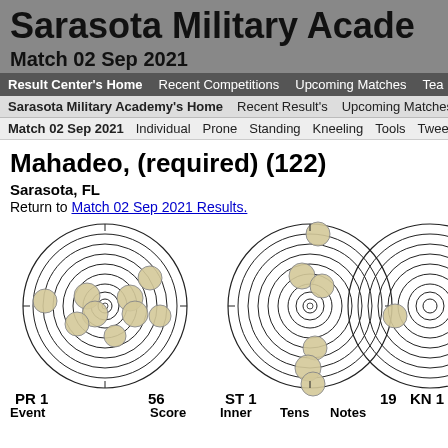Sarasota Military Acade
Match 02 Sep 2021
Result Center's Home | Recent Competitions | Upcoming Matches | Tea
Sarasota Military Academy's Home | Recent Result's | Upcoming Matches
Match 02 Sep 2021 | Individual | Prone | Standing | Kneeling | Tools | Tweet
Mahadeo, (required) (122)
Sarasota, FL
Return to Match 02 Sep 2021 Results.
[Figure (other): Three target diagrams showing shot placement on circular targets. First target labeled PR 1 (Prone 1) with score 56, showing multiple shots in various rings. Second target labeled ST 1 (Standing 1) with score 19, showing shots spread on target. Third target labeled KN 1 (Kneeling 1), partially visible.]
PR 1
Event
Score  Inner  Tens  Notes
56